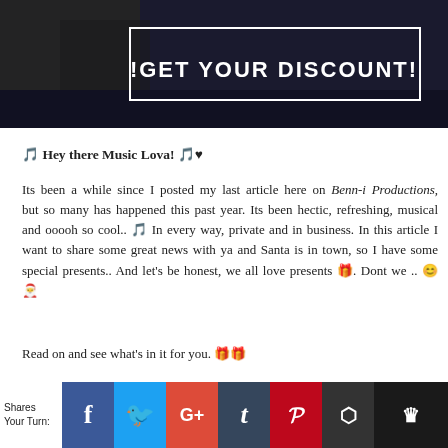[Figure (photo): Dark banner image with white bordered box containing text '!GET YOUR DISCOUNT!' in bold white letters on a dark background]
🎵 Hey there Music Lova! 🎵♥
Its been a while since I posted my last article here on Benn-i Productions, but so many has happened this past year. Its been hectic, refreshing, musical and ooooh so cool.. 🎵 In every way, private and in business. In this article I want to share some great news with ya and Santa is in town, so I have some special presents.. And let's be honest, we all love presents 🎁. Dont we .. 😊🎅
Read on and see what's in it for you. 🎁🎁
Beat Discount Code
[Figure (infographic): Social sharing bar with Share/Your Turn label and social media icons: Facebook (blue), Twitter (light blue), Google+ (red), Tumblr (dark blue), Pinterest (dark red), Buffer (dark gray), and a crown icon (black)]